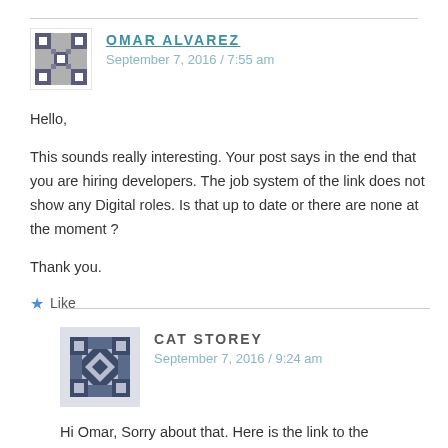OMAR ALVAREZ
September 7, 2016 / 7:55 am
Hello,

This sounds really interesting. Your post says in the end that you are hiring developers. The job system of the link does not show any Digital roles. Is that up to date or there are none at the moment ?

Thank you.
★ Like
CAT STOREY
September 7, 2016 / 9:24 am
Hi Omar, Sorry about that. Here is the link to the